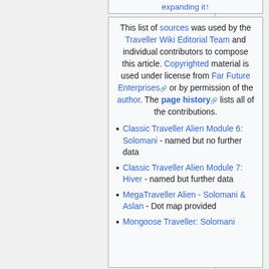expanding it↑
This list of sources was used by the Traveller Wiki Editorial Team and individual contributors to compose this article. Copyrighted material is used under license from Far Future Enterprises or by permission of the author. The page history lists all of the contributions.
Classic Traveller Alien Module 6: Solomani - named but no further data
Classic Traveller Alien Module 7: Hiver - named but further data
MegaTraveller Alien - Solomani & Aslan - Dot map provided
Mongoose Traveller: Solomani